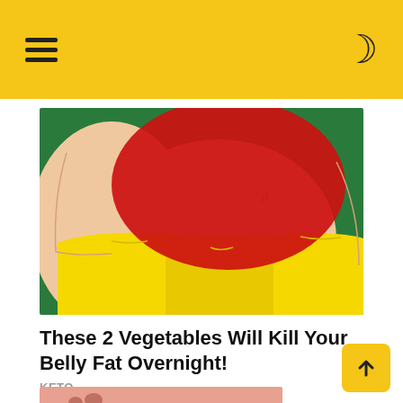Navigation header with hamburger menu and dark mode toggle
[Figure (illustration): Cartoon illustration of an overweight person's torso wearing yellow shorts on a green background, with a large red shape overlaid on the belly area]
These 2 Vegetables Will Kill Your Belly Fat Overnight!
KETO
[Figure (photo): Close-up photo of a person's face/mouth area, partially visible at the bottom of the page]